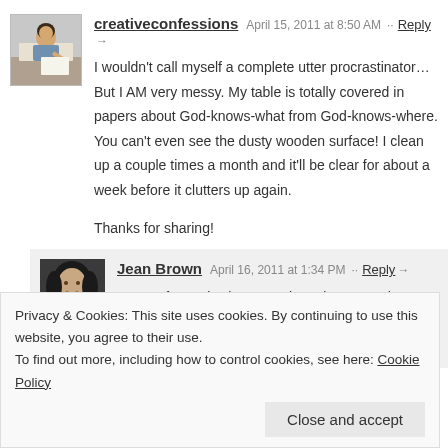[Figure (photo): Avatar of creativeconfessions — person sitting at desk writing]
creativeconfessions   April 15, 2011 at 8:50 AM ·· Reply →
I wouldn't call myself a complete utter procrastinator… But I AM very messy. My table is totally covered in papers about God-knows-what from God-knows-where. You can't even see the dusty wooden surface! I clean up a couple times a month and it'll be clear for about a week before it clutters up again.

Thanks for sharing!
[Figure (photo): Avatar of Jean Brown — woman portrait photo]
Jean Brown   April 16, 2011 at 1:34 PM ·· Reply →
I saw a fantastic show one time about messiness, which ended up saying that for many people, their messiness is
Privacy & Cookies: This site uses cookies. By continuing to use this website, you agree to their use.
To find out more, including how to control cookies, see here: Cookie Policy
Close and accept